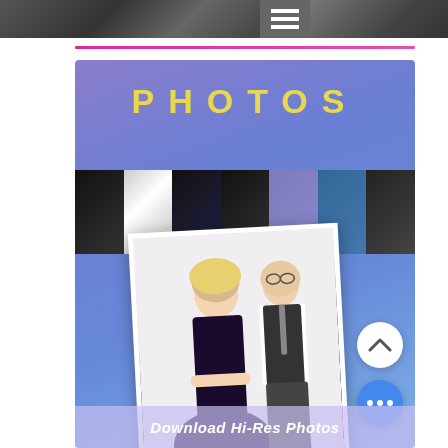[Figure (photo): Top navigation banner with performer photos on dark background and hamburger menu icon]
[Figure (photo): Purple/blue gradient section with 'PHOTOS' title in yellow, a horizontal strip of performer thumbnails, a large tilted photo of two performers, scroll-up button, three-dots menu button, and a 'Download Hi-Res Photos' bar at bottom]